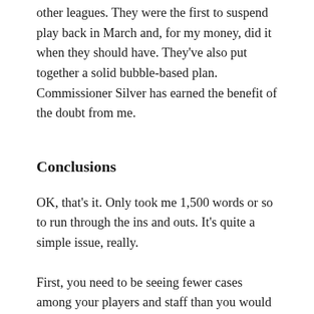other leagues. They were the first to suspend play back in March and, for my money, did it when they should have. They've also put together a solid bubble-based plan. Commissioner Silver has earned the benefit of the doubt from me.
Conclusions
OK, that's it. Only took me 1,500 words or so to run through the ins and outs. It's quite a simple issue, really.
First, you need to be seeing fewer cases among your players and staff than you would have if you hadn't restarted. Second, shut the team or league down if you see an outbreak (3-4 cases on one or multiple